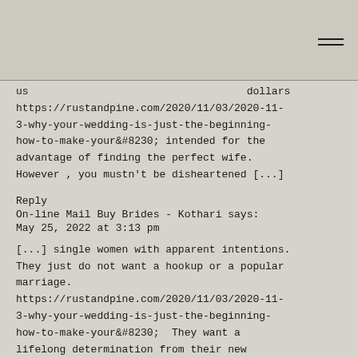us dollars https://rustandpine.com/2020/11/03/2020-11-3-why-your-wedding-is-just-the-beginning-how-to-make-your&#8230; intended for the advantage of finding the perfect wife. However , you mustn’t be disheartened [...]
Reply
On-line Mail Buy Brides - Kothari says:
May 25, 2022 at 3:13 pm
[...] single women with apparent intentions. They just do not want a hookup or a popular marriage. https://rustandpine.com/2020/11/03/2020-11-3-why-your-wedding-is-just-the-beginning-how-to-make-your&#8230; They want a lifelong determination from their new